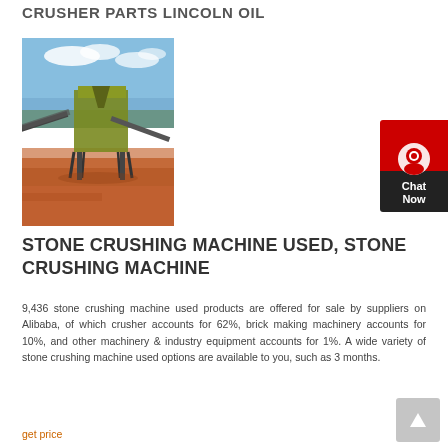CRUSHER PARTS LINCOLN OIL
[Figure (photo): Outdoor industrial stone crushing plant machinery with conveyor belts against a blue sky background, red dirt ground visible.]
STONE CRUSHING MACHINE USED, STONE CRUSHING MACHINE
9,436 stone crushing machine used products are offered for sale by suppliers on Alibaba, of which crusher accounts for 62%, brick making machinery accounts for 10%, and other machinery & industry equipment accounts for 1%. A wide variety of stone crushing machine used options are available to you, such as 3 months.
get price